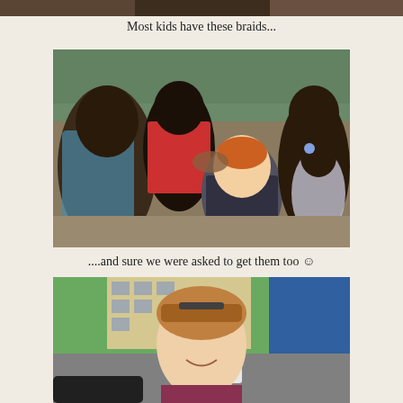[Figure (photo): Top strip of a photo, cropped at top edge of page]
Most kids have these braids...
[Figure (photo): Group of children and adults, one woman with red hair getting braids done outdoors]
....and sure we were asked to get them too ☺
[Figure (photo): Smiling woman with braids in her hair, standing in front of a green wall and street scene with buildings]